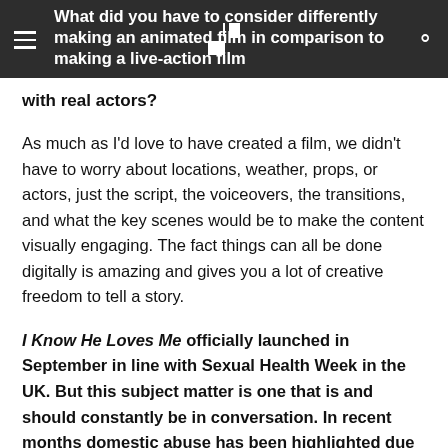What did you have to consider differently making an animated film in comparison to making a live-action film with real actors?
As much as I'd love to have created a film, we didn't have to worry about locations, weather, props, or actors, just the script, the voiceovers, the transitions, and what the key scenes would be to make the content visually engaging. The fact things can all be done digitally is amazing and gives you a lot of creative freedom to tell a story.
I Know He Loves Me officially launched in September in line with Sexual Health Week in the UK. But this subject matter is one that is and should constantly be in conversation. In recent months domestic abuse has been highlighted due to Covid-19 and lockdown